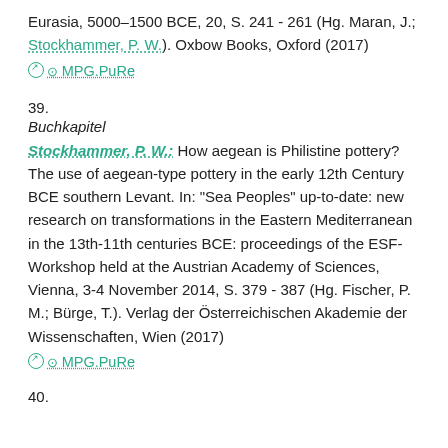Eurasia, 5000–1500 BCE, 20, S. 241 - 261 (Hg. Maran, J.; Stockhammer, P. W.). Oxbow Books, Oxford (2017)
⊙ MPG.PuRe
39.
Buchkapitel
Stockhammer, P. W.: How aegean is Philistine pottery? The use of aegean-type pottery in the early 12th Century BCE southern Levant. In: "Sea Peoples" up-to-date: new research on transformations in the Eastern Mediterranean in the 13th-11th centuries BCE: proceedings of the ESF-Workshop held at the Austrian Academy of Sciences, Vienna, 3-4 November 2014, S. 379 - 387 (Hg. Fischer, P. M.; Bürge, T.). Verlag der Österreichischen Akademie der Wissenschaften, Wien (2017)
⊙ MPG.PuRe
40.